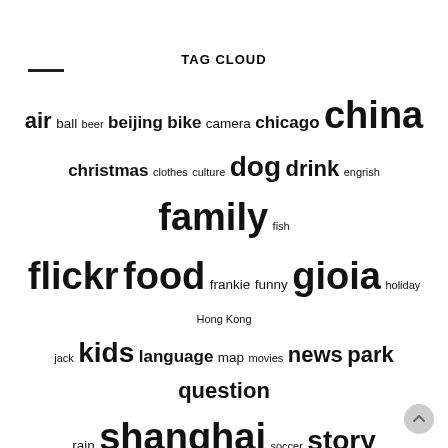TAG CLOUD
air ball beer beijing bike camera chicago china christmas clothes culture dog drink engrish family fish flickr food frankie funny gioia holiday Hong Kong jack kids language map movies news park question rain shanghai soccer story strange taipei taiwan Tech travel video visit walking work youtube
ARCHIVE